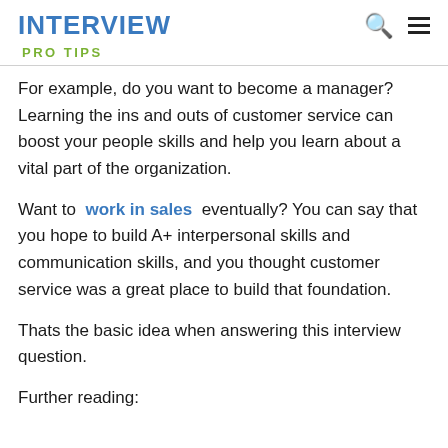INTERVIEW
PRO TIPS
For example, do you want to become a manager? Learning the ins and outs of customer service can boost your people skills and help you learn about a vital part of the organization.
Want to work in sales eventually? You can say that you hope to build A+ interpersonal skills and communication skills, and you thought customer service was a great place to build that foundation.
Thats the basic idea when answering this interview question.
Further reading: